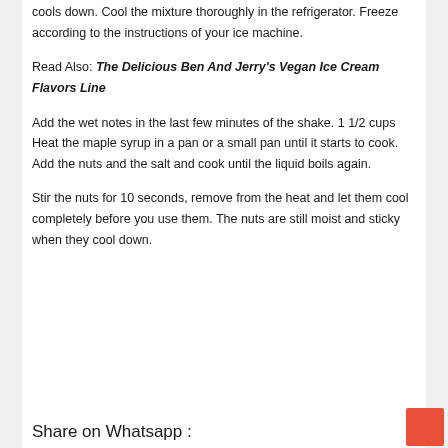cools down. Cool the mixture thoroughly in the refrigerator. Freeze according to the instructions of your ice machine.
Read Also: The Delicious Ben And Jerry's Vegan Ice Cream Flavors Line
Add the wet notes in the last few minutes of the shake. 1 1/2 cups Heat the maple syrup in a pan or a small pan until it starts to cook. Add the nuts and the salt and cook until the liquid boils again.
Stir the nuts for 10 seconds, remove from the heat and let them cool completely before you use them. The nuts are still moist and sticky when they cool down.
Share on Whatsapp :